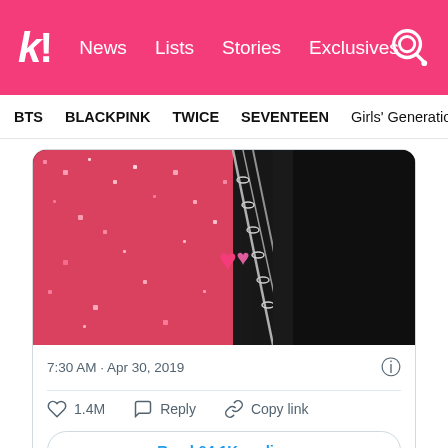k! News  Lists  Stories  Exclusives
BTS  BLACKPINK  TWICE  SEVENTEEN  Girls' Generation
[Figure (photo): A close-up photo showing pink glittery/sequined fabric or costume on the left, silver chain/jewelry in the middle, and a dark fabric on the right. A pink heart emoji or sticker is overlaid in the center.]
7:30 AM · Apr 30, 2019
1.4M    Reply    Copy link
Read 64.1K replies
Many ARMYs are left in shock upon BTS's answers to being asked who their best friend is. So, they're doing as we all do when we experience any heartbreak… just letting out all